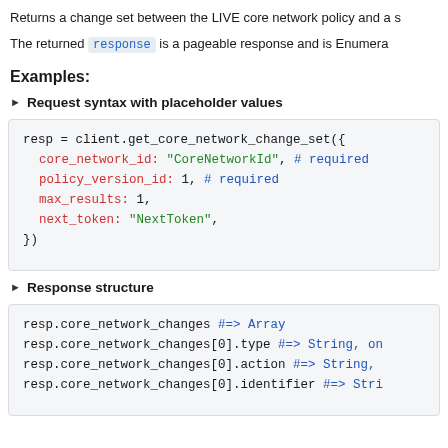Returns a change set between the LIVE core network policy and a s
The returned response is a pageable response and is Enumera
Examples:
► Request syntax with placeholder values
resp = client.get_core_network_change_set({
  core_network_id: "CoreNetworkId", # required
  policy_version_id: 1, # required
  max_results: 1,
  next_token: "NextToken",
})
► Response structure
resp.core_network_changes #=> Array
resp.core_network_changes[0].type #=> String, on
resp.core_network_changes[0].action #=> String,
resp.core_network_changes[0].identifier #=> Stri